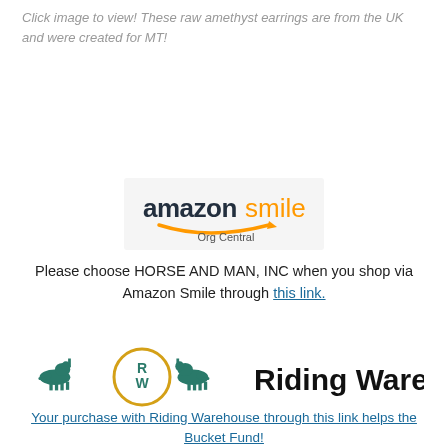Click image to view! These raw amethyst earrings are from the UK and were created for MT!
[Figure (logo): Amazon Smile Org Central logo on light grey background]
Please choose HORSE AND MAN, INC when you shop via Amazon Smile through this link.
[Figure (logo): Riding Warehouse logo with two horses and circular RW emblem in teal and gold]
Your purchase with Riding Warehouse through this link helps the Bucket Fund!